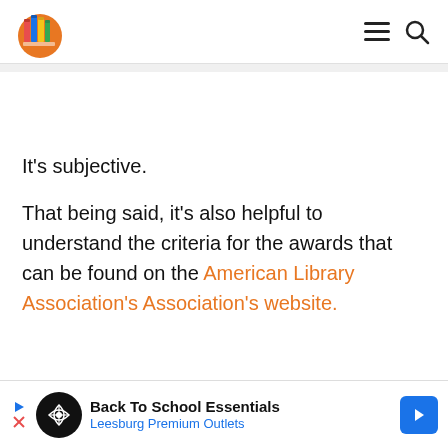[Figure (logo): Lesjoanetes Bread logo — colorful books with an orange circle background]
It’s subjective.
That being said, it’s also helpful to understand the criteria for the awards that can be found on the American Library Association’s Association’s website.
[Figure (screenshot): Advertisement banner: Back To School Essentials — Leesburg Premium Outlets]
Here d